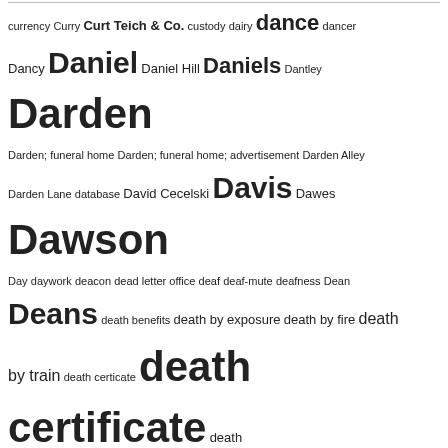currency Curry Curt Teich & Co. custody dairy dance dancer Dancy Daniel Daniel Hill Daniels Dantley Darden Darden; funeral home Darden; funeral home; advertisement Darden Alley Darden Lane database David Cecelski Davis Dawes Dawson Day daywork deacon dead letter office deaf deaf-mute deafness Dean Deans death benefits death by exposure death by fire death by train death certicate death certificate death certificates death notice death penalty death row debt decoration deed deed of sale deed of trust default Delaney Delany delegates delinquent taxes delivery boy Delta Sigma Theta Sorority Democratic Party demographics dental education dental school dentist department store deposition depression descendants desecration deserter Dew Dickens Dickerson Dickinson Diggs Dildy Dillard diploma diplomat dirt directory disability disabled veteran disbursement discharge papers Disciples of Christ discrimination disease disenfranchisement disinterment disorderly conduct disorderly house displacement distillery disturbing the peace ditcher diversity and inclusion divine healer divorce Dixie